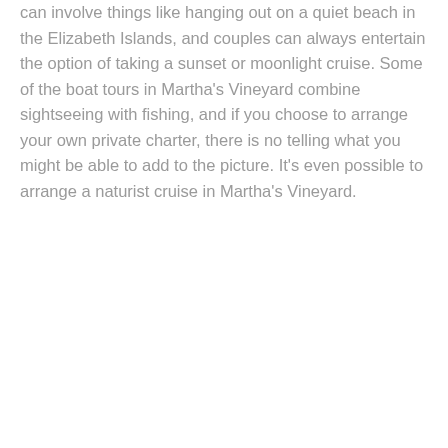can involve things like hanging out on a quiet beach in the Elizabeth Islands, and couples can always entertain the option of taking a sunset or moonlight cruise. Some of the boat tours in Martha's Vineyard combine sightseeing with fishing, and if you choose to arrange your own private charter, there is no telling what you might be able to add to the picture. It's even possible to arrange a naturist cruise in Martha's Vineyard.